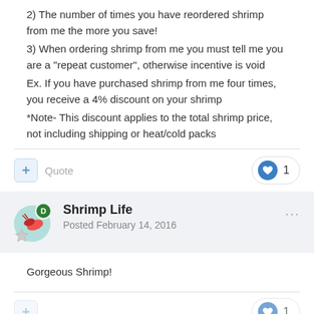2) The number of times you have reordered shrimp from me the more you save!
3) When ordering shrimp from me you must tell me you are a "repeat customer", otherwise incentive is void
Ex. If you have purchased shrimp from me four times, you receive a 4% discount on your shrimp
*Note- This discount applies to the total shrimp price, not including shipping or heat/cold packs
Shrimp Life
Posted February 14, 2016
Gorgeous Shrimp!